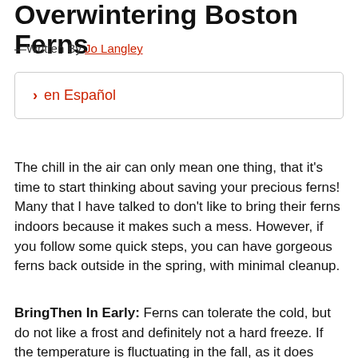Overwintering Boston Ferns
—Written By Jo Langley
› en Español
The chill in the air can only mean one thing, that it's time to start thinking about saving your precious ferns! Many that I have talked to don't like to bring their ferns indoors because it makes such a mess. However, if you follow some quick steps, you can have gorgeous ferns back outside in the spring, with minimal cleanup.
BringThen In Early: Ferns can tolerate the cold, but do not like a frost and definitely not a hard freeze. If the temperature is fluctuating in the fall, as it does quite